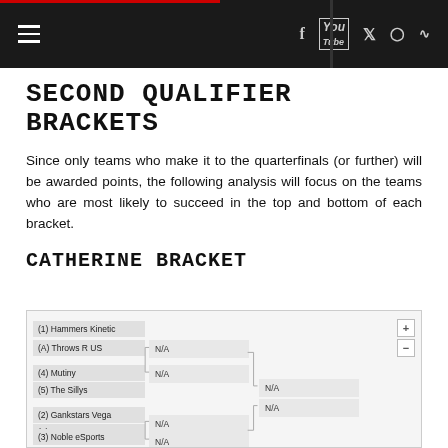Navigation bar with hamburger menu and social icons (Facebook, YouTube, Twitter, Reddit, RSS)
SECOND QUALIFIER BRACKETS
Since only teams who make it to the quarterfinals (or further) will be awarded points, the following analysis will focus on the teams who are most likely to succeed in the top and bottom of each bracket.
CATHERINE BRACKET
[Figure (flowchart): Tournament bracket showing: (1) Hammers Kinetic, (A) Throws R US, (4) Mutiny, (5) The Sillys, (2) Gankstars Vega, (7) Team Apex, (3) Noble eSports with N/A match results in first and second rounds]